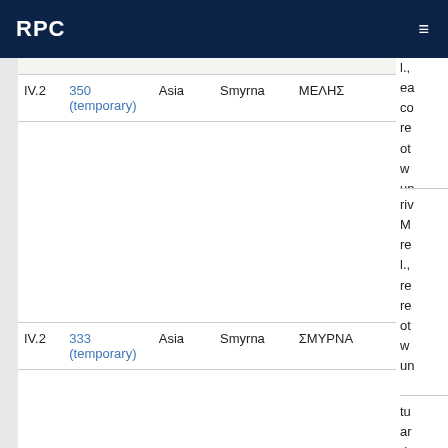RPC
| Vol. | No. | Region | City | Legend |
| --- | --- | --- | --- | --- |
| IV.2 | 350 (temporary) | Asia | Smyrna | ΜΕΛΗΣ |
| IV.2 | 333 (temporary) | Asia | Smyrna | ΣΜΥΡΝΑ |